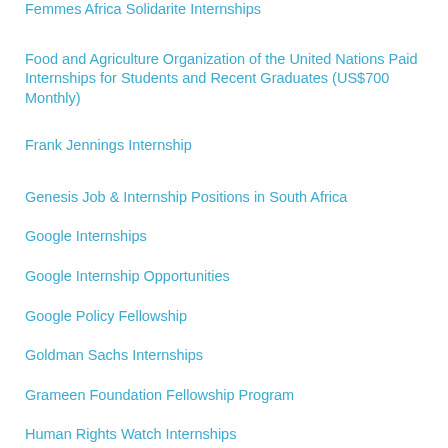Femmes Africa Solidarite Internships
Food and Agriculture Organization of the United Nations Paid Internships for Students and Recent Graduates (US$700 Monthly)
Frank Jennings Internship
Genesis Job & Internship Positions in South Africa
Google Internships
Google Internship Opportunities
Google Policy Fellowship
Goldman Sachs Internships
Grameen Foundation Fellowship Program
Human Rights Watch Internships
Humphrey Student Fellowship